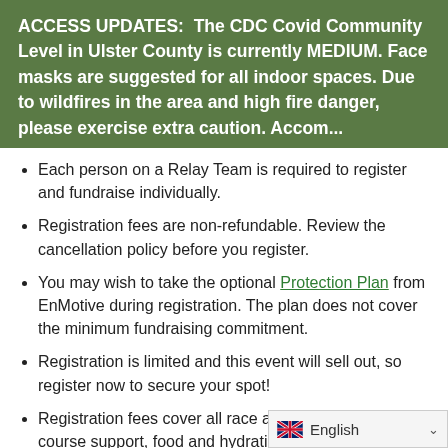ACCESS UPDATES: The CDC Covid Community Level in Ulster County is currently MEDIUM. Face masks are suggested for all indoor spaces. Due to wildfires in the area and high fire danger, please exercise extra caution. Accom...
Each person on a Relay Team is required to register and fundraise individually.
Registration fees are non-refundable. Review the cancellation policy before you register.
You may wish to take the optional Protection Plan from EnMotive during registration. The plan does not cover the minimum fundraising commitment.
Registration is limited and this event will sell out, so register now to secure your spot!
Registration fees cover all race amenities including on-course support, food and hydration, finish line food, performance tee, race timing, shuttle transportation, and a finisher's medal.